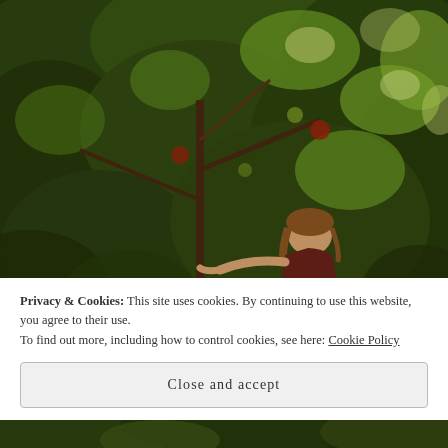[Figure (photo): A child reaching into a dense green apple or fruit tree, picking fruit. Heavy foliage fills the frame with dappled sunlight. Photo has a warm, slightly muted tone.]
Privacy & Cookies: This site uses cookies. By continuing to use this website, you agree to their use.
To find out more, including how to control cookies, see here: Cookie Policy
Close and accept
[Figure (photo): Bottom portion of another outdoor nature/garden photo, partially visible.]